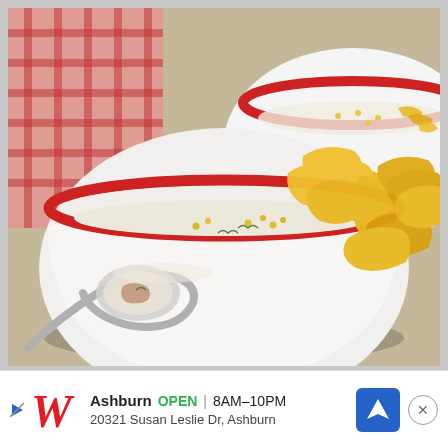[Figure (photo): Close-up food photo of two white bowls with red rims containing creamy soup topped with shredded yellow cheddar cheese, corn kernels, and herbs. A spoon in the foreground holds a bite of the soup. A red checkered cloth napkin is visible in the upper left. The bowls are on a rustic wooden surface.]
Ashburn  OPEN | 8AM–10PM
20321 Susan Leslie Dr, Ashburn